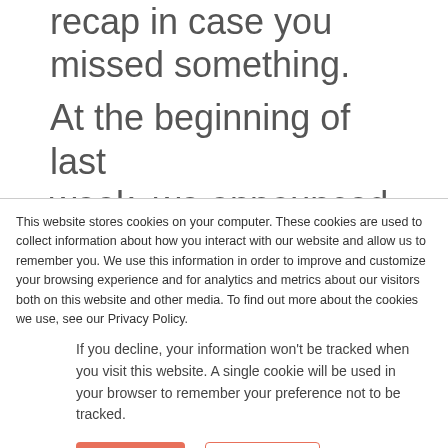recap in case you missed something.
At the beginning of last week, we announced Bright Cluster Manager 9.1. The latest version of
This website stores cookies on your computer. These cookies are used to collect information about how you interact with our website and allow us to remember you. We use this information in order to improve and customize your browsing experience and for analytics and metrics about our visitors both on this website and other media. To find out more about the cookies we use, see our Privacy Policy.
If you decline, your information won't be tracked when you visit this website. A single cookie will be used in your browser to remember your preference not to be tracked.